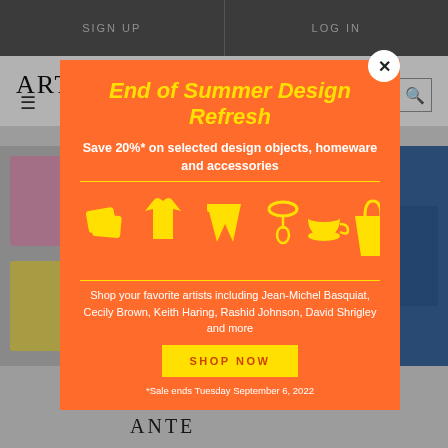SIGN UP   LOG IN
ARTSPACE
[Figure (screenshot): Background website page with artwork images and ANTE text]
End of Summer Design Refresh
Save 20%* on selected design objects, homeware and accessories
[Figure (illustration): Row of yellow product icons: cushions, t-shirt, shorts, necklace, teacup, tote bag on orange background]
Shop your favorite artists including Jean-Michel Basquiat, Cecily Brown, Keith Haring, Rashid Johnson, David Shrigley and more
SHOP NOW
*Sale ends Tuesday September 6, 2022